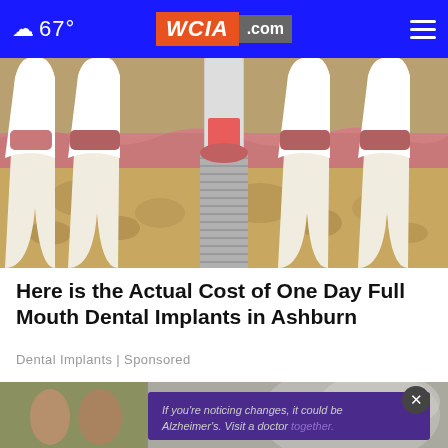67° WCIA.com
[Figure (illustration): Cross-section illustration of dental implant among natural teeth roots embedded in jawbone. Shows metallic threaded implant screw in center, surrounded by natural tooth roots, with visible pink gum tissue and sandy-brown bone texture.]
Here is the Actual Cost of One Day Full Mouth Dental Implants in Ashburn
Dental Implants | Sponsored
[Figure (photo): Advertisement banner at bottom of page. Background shows blurred car. Overlay shows two men conversing outdoors, with purple banner reading: If you're noticing changes, it could be Alzheimer's. Visit a doctor together. Close button (X) in dark circle top right.]